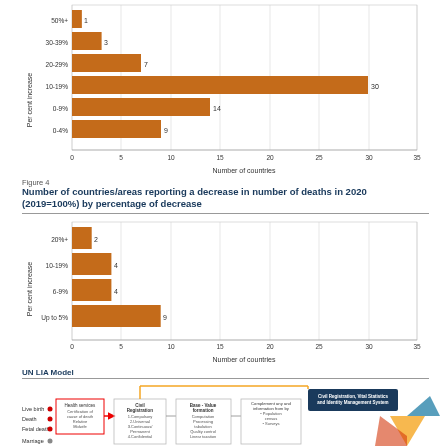[Figure (bar-chart): Number of countries/areas reporting an increase in number of deaths in 2020]
Figure 4
Number of countries/areas reporting a decrease in number of deaths in 2020 (2019=100%) by percentage of decrease
[Figure (bar-chart): Number of countries/areas reporting a decrease in number of deaths in 2020]
UN LIA Model
[Figure (flowchart): UN Legal Identity Agenda (LIA) Model flowchart showing civil registration, vital statistics, and identity management system components including health services, civil registration steps, base value formation, and complementary information systems.]